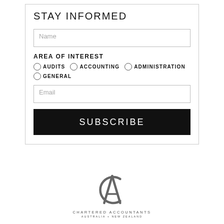STAY INFORMED
Name
AREA OF INTEREST
AUDITS
ACCOUNTING
ADMINISTRATION
GENERAL
Email
SUBSCRIBE
[Figure (logo): Chartered Accountants Australia + New Zealand logo — stylized letter C/A monogram in dark grey above the text CHARTERED ACCOUNTANTS / AUSTRALIA + NEW ZEALAND]